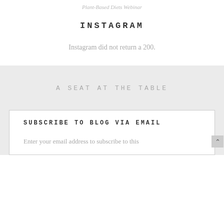Plant-Based Diets Webinar
INSTAGRAM
Instagram did not return a 200.
A SEAT AT THE TABLE
SUBSCRIBE TO BLOG VIA EMAIL
Enter your email address to subscribe to this